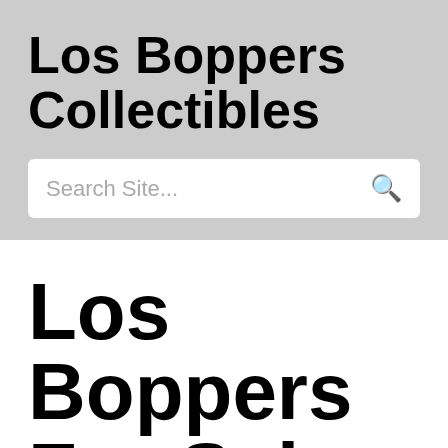Los Boppers Collectibles
Search Site...
Los Boppers For Sale